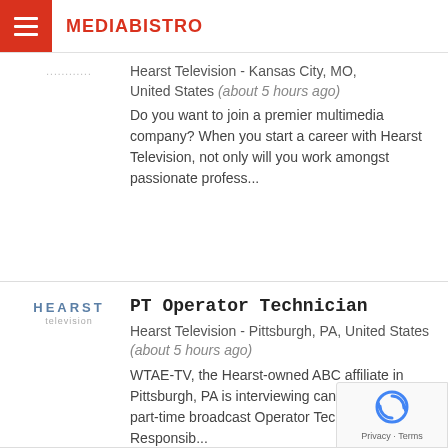MEDIABISTRO
Hearst Television - Kansas City, MO, United States (about 5 hours ago)
Do you want to join a premier multimedia company? When you start a career with Hearst Television, not only will you work amongst passionate profess...
PT Operator Technician
Hearst Television - Pittsburgh, PA, United States (about 5 hours ago)
WTAE-TV, the Hearst-owned ABC affiliate in Pittsburgh, PA is interviewing candidates for a part-time broadcast Operator Technician. Job Responsib...